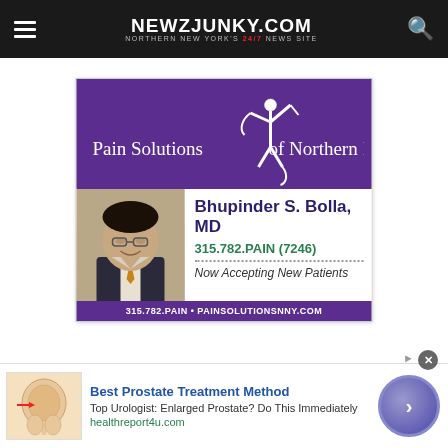NEWZJUNKY.COM — NORTHERN NEW YORK'S 24/7 NEWS SITE
[Figure (illustration): Pain Solutions of Northern NY advertisement banner featuring doctor Bhupinder S. Bolla, MD with phone number 315.782.PAIN (7246), Now Accepting New Patients, and website painsolutionsnny.com]
[Figure (illustration): Bottom advertisement: Best Prostate Treatment Method — Top Urologist: Enlarged Prostate? Do This Immediately — healthreport4u.com]